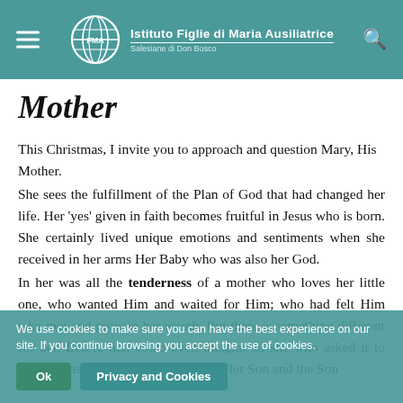Istituto Figlie di Maria Ausiliatrice — Salesiane di Don Bosco
Mother
This Christmas, I invite you to approach and question Mary, His Mother.
She sees the fulfillment of the Plan of God that had changed her life. Her 'yes' given in faith becomes fruitful in Jesus who is born. She certainly lived unique emotions and sentiments when she received in her arms Her Baby who was also her God.
In her was all the tenderness of a mother who loves her little one, who wanted Him and waited for Him; who had felt Him take root and grow in her womb. But there is something different for her. Before her, could even imagine it, she who asked it to her, who asked her to generate Him, Her Son and the Son
We use cookies to make sure you can have the best experience on our site. If you continue browsing you accept the use of cookies.